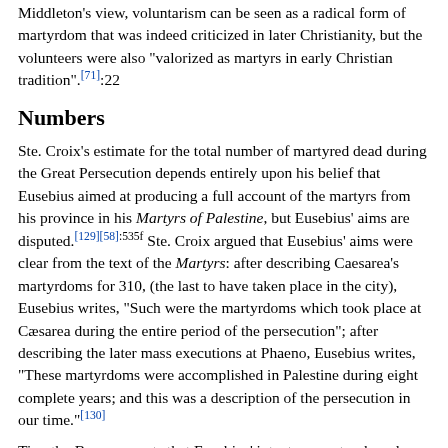Middleton's view, voluntarism can be seen as a radical form of martyrdom that was indeed criticized in later Christianity, but the volunteers were also "valorized as martyrs in early Christian tradition".[71]:22
Numbers
Ste. Croix's estimate for the total number of martyred dead during the Great Persecution depends entirely upon his belief that Eusebius aimed at producing a full account of the martyrs from his province in his Martyrs of Palestine, but Eusebius' aims are disputed.[129][58]:535f Ste. Croix argued that Eusebius' aims were clear from the text of the Martyrs: after describing Caesarea's martyrdoms for 310, (the last to have taken place in the city), Eusebius writes, "Such were the martyrdoms which took place at Cæsarea during the entire period of the persecution"; after describing the later mass executions at Phaeno, Eusebius writes, "These martyrdoms were accomplished in Palestine during eight complete years; and this was a description of the persecution in our time."[130]
Timothy Barnes asserts that Eusebius' intent was not as broad as Ste. Croix argues. In Barnes' view, it was not Eusebius' intent to give a comprehensive account of all martyrs.[20]:154 Barnes cites the preface to the longer recension of the Martyrs in a manuscript which...